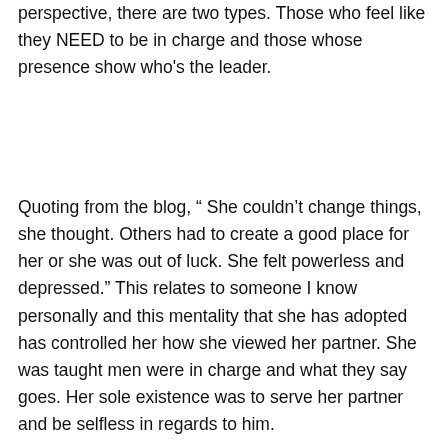perspective, there are two types. Those who feel like they NEED to be in charge and those whose presence show who's the leader.
Quoting from the blog, “ She couldn’t change things, she thought. Others had to create a good place for her or she was out of luck. She felt powerless and depressed.” This relates to someone I know personally and this mentality that she has adopted has controlled her how she viewed her partner. She was taught men were in charge and what they say goes. Her sole existence was to serve her partner and be selfless in regards to him.
From personal experience, I’m a female IT manager in a tech company. In the beginning,